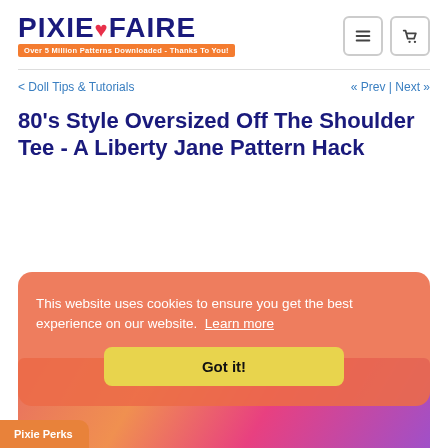PIXIE FAIRE - Over 5 Million Patterns Downloaded - Thanks To You!
< Doll Tips & Tutorials   « Prev | Next »
80's Style Oversized Off The Shoulder Tee - A Liberty Jane Pattern Hack
This website uses cookies to ensure you get the best experience on our website. Learn more
Got it!
Pixie Perks